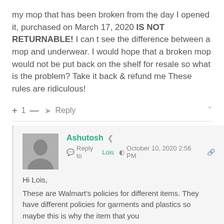my mop that has been broken from the day I opened it, purchased on March 17, 2020 IS NOT RETURNABLE! I can t see the difference between a mop and underwear. I would hope that a broken mop would not be put back on the shelf for resale so what is the problem? Take it back & refund me These rules are ridiculous!
+ 1 — ➤ Reply ∧
Ashutosh < Reply to Lois © October 10, 2020 2:56 PM
Hi Lois,
These are Walmart's policies for different items. They have different policies for garments and plastics so maybe this is why the item that you bought is non-refundable. Though there's absolutely no logic behind the policy, but we can't